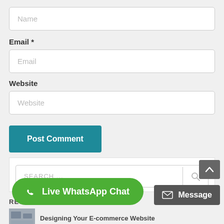Name (placeholder input)
Email *
Email (placeholder input)
Website
Website (placeholder input)
Post Comment
SEARCH ...
RECENT POSTS
Designing Your E-commerce Website
Live WhatsApp Chat
Message